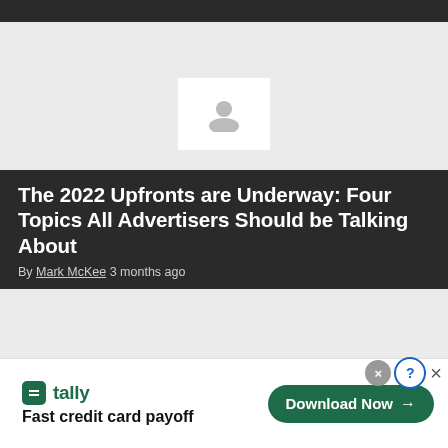[Figure (screenshot): Dark top navigation bar of a webpage]
[Figure (photo): Light gray hero image placeholder area with a white image placeholder icon in the lower center]
The 2022 Upfronts are Underway: Four Topics All Advertisers Should be Talking About
By Mark McKee 3 months ago
[Figure (screenshot): Light gray content area below the article header]
[Figure (advertisement): Tally advertisement banner: tally logo, Fast credit card payoff tagline, Download Now button with arrow, close/help icons]